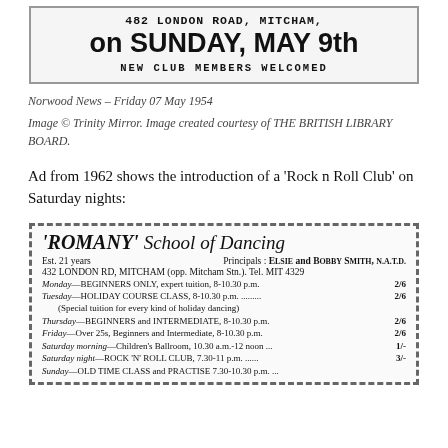[Figure (photo): Newspaper clipping showing '482 LONDON ROAD, MITCHAM,' on SUNDAY, MAY 9th and NEW CLUB MEMBERS WELCOMED]
Norwood News – Friday 07 May 1954
Image © Trinity Mirror. Image created courtesy of THE BRITISH LIBRARY BOARD.
Ad from 1962 shows the introduction of a 'Rock n Roll Club' on Saturday nights:
[Figure (photo): Advertisement for 'ROMANY' School of Dancing, Est. 21 years, Principals: ELSIE and BOBBY SMITH, N.A.T.D., 432 LONDON RD, MITCHAM (opp. Mitcham Stn.). Tel. MIT 4329. Schedule: Monday—BEGINNERS ONLY, expert tuition, 8-10.30 p.m. 2/6; Tuesday—HOLIDAY COURSE CLASS, 8-10.30 p.m. 2/6; (Special tuition for every kind of holiday dancing); Thursday—BEGINNERS and INTERMEDIATE, 8-10.30 p.m. 2/6; Friday—Over 25s, Beginners and Intermediate, 8-10.30 p.m. 2/6; Saturday morning—Children's Ballroom, 10.30 a.m.-12 noon 1/-; Saturday night—ROCK 'N' ROLL CLUB, 7.30-11 p.m. 3/-; Sunday—OLD TIME CLASS and PRACTISE...]